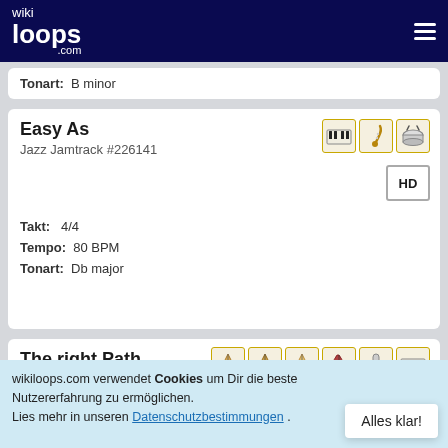wikiloops.com
Tonart: B minor
Easy As
Jazz Jamtrack #226141
Takt: 4/4
Tempo: 80 BPM
Tonart: Db major
The right Path
Pop Jamtrack #222716
wikiloops.com verwendet Cookies um Dir die beste Nutzererfahrung zu ermöglichen.
Lies mehr in unseren Datenschutzbestimmungen .